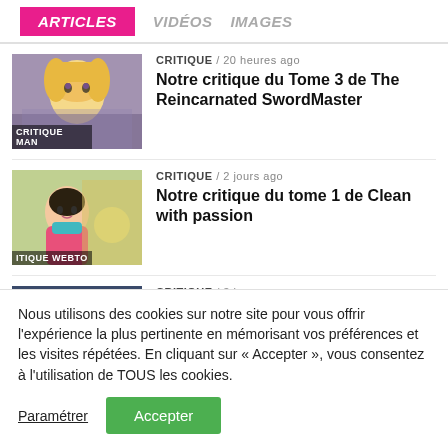ARTICLES  VIDÉOS  IMAGES
CRITIQUE / 20 heures ago
Notre critique du Tome 3 de The Reincarnated SwordMaster
CRITIQUE / 2 jours ago
Notre critique du tome 1 de Clean with passion
CRITIQUE / 3 jours ago
Notre critique du Tome 5 de Kuma Kuma Kuma
Nous utilisons des cookies sur notre site pour vous offrir l'expérience la plus pertinente en mémorisant vos préférences et les visites répétées. En cliquant sur « Accepter », vous consentez à l'utilisation de TOUS les cookies.
Paramétrer  Accepter